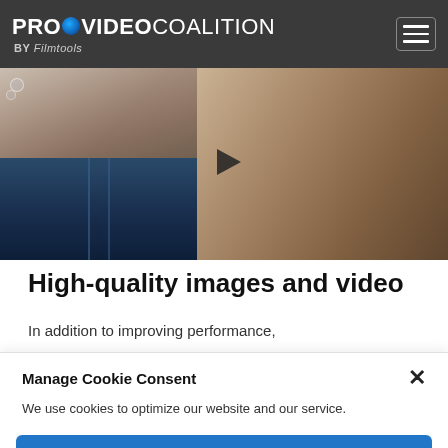PROVIDEO COALITION by Filmtools
[Figure (screenshot): Video thumbnail grid showing a child blowing bubbles (top left), an underwater/aquarium scene (bottom left), and a group of people laughing and smiling at a celebration (right), with a play button overlay in the center.]
High-quality images and video
In addition to improving performance,
Manage Cookie Consent
We use cookies to optimize our website and our service.
Accept